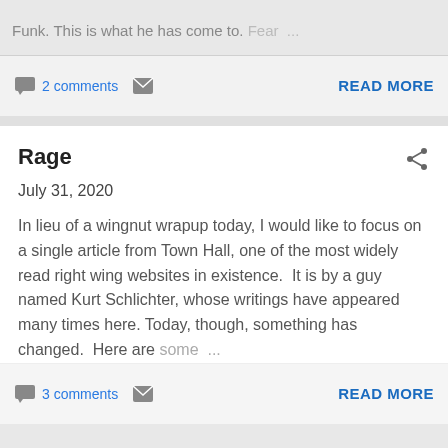Funk. This is what he has come to.  Fear  ...
2 comments
READ MORE
Rage
July 31, 2020
In lieu of a wingnut wrapup today, I would like to focus on a single article from Town Hall, one of the most widely read right wing websites in existence.  It is by a guy named Kurt Schlichter, whose writings have appeared many times here.  Today, though, something has changed.  Here are some ...
3 comments
READ MORE